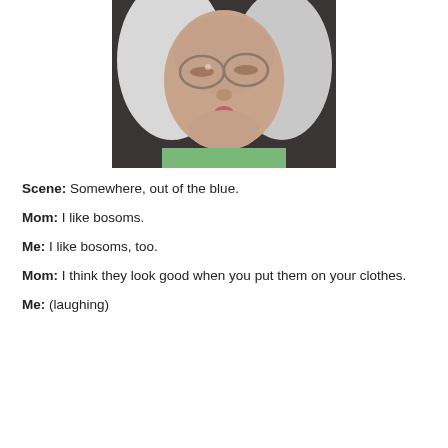[Figure (photo): Close-up photo of an elderly woman with white hair and glasses, appearing to be speaking or making an expression, wearing a green top.]
Scene: Somewhere, out of the blue.
Mom: I like bosoms.
Me: I like bosoms, too.
Mom: I think they look good when you put them on your clothes.
Me: (laughing)